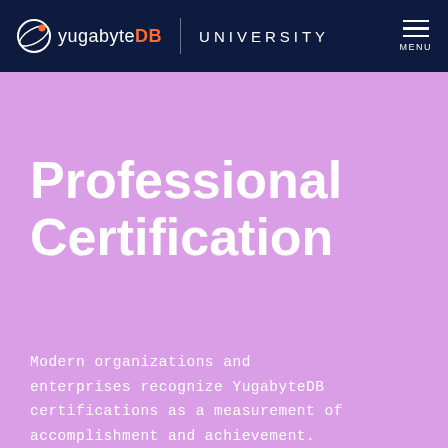yugabyteDB | UNIVERSITY — MENU
Professional Certification
Modern organizations and enterprises recognize YugabyteDB certifications as a measurement of accomplishment and achievement.